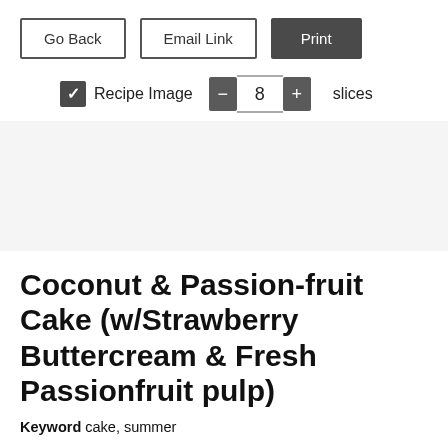[Figure (screenshot): UI toolbar with Go Back, Email Link, and Print buttons]
[Figure (screenshot): UI controls row: checked Recipe Image checkbox, stepper showing 8 slices]
[Figure (other): Gray placeholder area for recipe image]
Coconut & Passion-fruit Cake (w/Strawberry Buttercream & Fresh Passionfruit pulp)
Keyword cake, summer